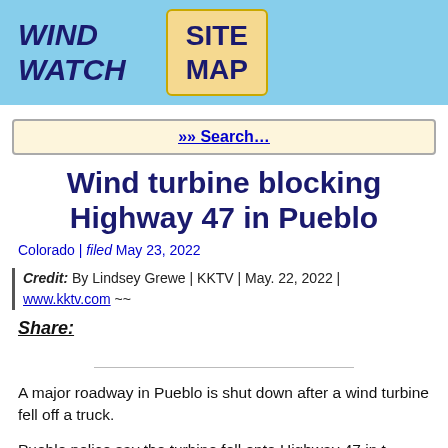WIND WATCH  SITE MAP
»» Search…
Wind turbine blocking Highway 47 in Pueblo
Colorado | filed May 23, 2022
Credit:  By Lindsey Grewe | KKTV | May. 22, 2022 | www.kktv.com ~~
Share:
A major roadway in Pueblo is shut down after a wind turbine fell off a truck.
Pueblo police say the turbine fell onto Highway 47 in t